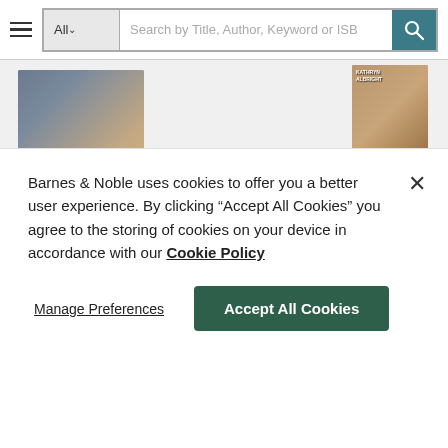[Figure (screenshot): Barnes & Noble website navigation bar with hamburger menu, search dropdown labeled 'All' with chevron, search input placeholder 'Search by Title, Author, Keyword or ISB', and teal search button with magnifying glass icon]
[Figure (photo): Book covers shown on a Barnes & Noble webpage: large cover of Kathryn Albright romance novel on left showing a cowboy and woman; on right a smaller Kathryn Albright book, a purple Harlequin Historical August 2018 Box Set 2 of 2 banner, and two smaller book covers by Michelle Willingham and another author]
Barnes & Noble uses cookies to offer you a better user experience. By clicking "Accept All Cookies" you agree to the storing of cookies on your device in accordance with our Cookie Policy
Manage Preferences
Accept All Cookies